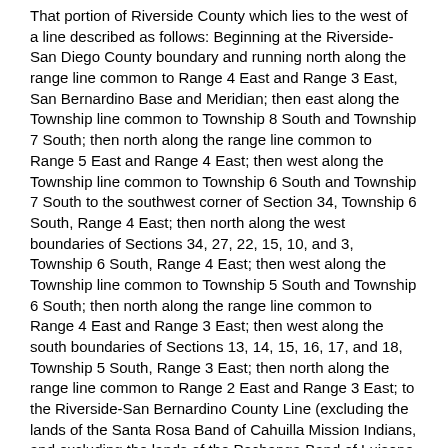That portion of Riverside County which lies to the west of a line described as follows: Beginning at the Riverside-San Diego County boundary and running north along the range line common to Range 4 East and Range 3 East, San Bernardino Base and Meridian; then east along the Township line common to Township 8 South and Township 7 South; then north along the range line common to Range 5 East and Range 4 East; then west along the Township line common to Township 6 South and Township 7 South to the southwest corner of Section 34, Township 6 South, Range 4 East; then north along the west boundaries of Sections 34, 27, 22, 15, 10, and 3, Township 6 South, Range 4 East; then west along the Township line common to Township 5 South and Township 6 South; then north along the range line common to Range 4 East and Range 3 East; then west along the south boundaries of Sections 13, 14, 15, 16, 17, and 18, Township 5 South, Range 3 East; then north along the range line common to Range 2 East and Range 3 East; to the Riverside-San Bernardino County Line (excluding the lands of the Santa Rosa Band of Cahuilla Mission Indians, and excluding the lands of the Pechanga Band of Luiseno Mission Indians of the Pechanga Reservation).
San Bernardino County
That portion of San Bernardino County which lies south and west of a line described as follows: Beginning at the San Bernardino-Riverside County boundary and running north along the range line common to Range 3 East and Range 2 East, San Bernardino Base and Meridian; then west along the Township